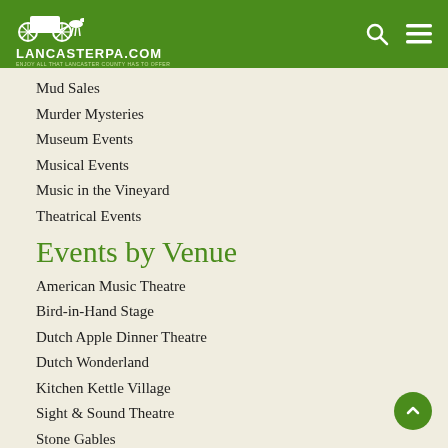LancasterPA.com — Enjoy all that Lancaster County has to offer
Mud Sales
Murder Mysteries
Museum Events
Musical Events
Music in the Vineyard
Theatrical Events
Events by Venue
American Music Theatre
Bird-in-Hand Stage
Dutch Apple Dinner Theatre
Dutch Wonderland
Kitchen Kettle Village
Sight & Sound Theatre
Stone Gables
Strasburg Rail Road
Weathered Vineyard
Events by Area